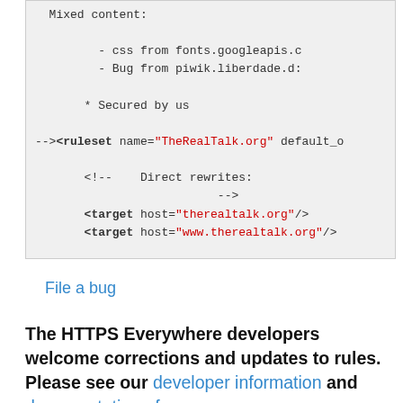[Figure (screenshot): Code snippet showing XML ruleset for TheRealTalk.org with mixed content notes, target hosts, and rule for http to https redirect.]
File a bug
The HTTPS Everywhere developers welcome corrections and updates to rules. Please see our developer information and documentation of